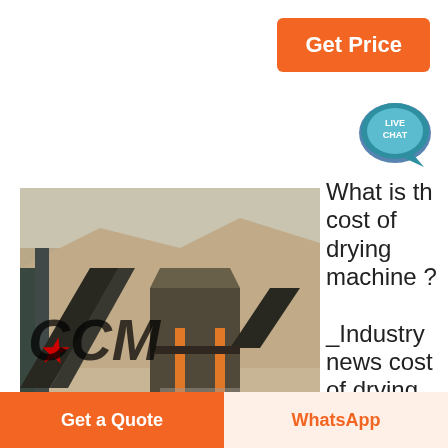Get Price
[Figure (illustration): Live Chat speech bubble icon in teal/dark blue]
[Figure (photo): Industrial mining crushing plant machinery with CCM logo text overlay, conveyor belts and large crusher in an open-pit quarry setting]
What is th cost of drying machine ? _Industry news cost of drying machine
2019/2/15The drying machine provides convenient processing for all starch production plants. For many starch plants, the cost of
Get a Quote
WhatsApp